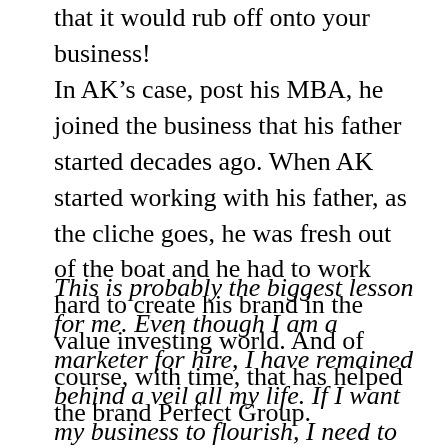that it would rub off onto your business!
In AK's case, post his MBA, he joined the business that his father started decades ago. When AK started working with his father, as the cliche goes, he was fresh out of the boat and he had to work hard to create his brand in the value investing world. And of course, with time, that has helped the brand Perfect Group.
This is probably the biggest lesson for me. Even though I am a marketer for hire, I have remained behind a veil all my life. If I want my business to flourish, I need to be out there a lot more. After all, I am the biggest advocate of my business! I thus need to work hard on my personal brand and that